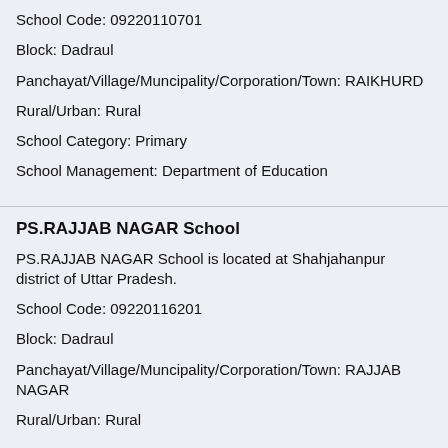School Code: 09220110701
Block: Dadraul
Panchayat/Village/Muncipality/Corporation/Town: RAIKHURD
Rural/Urban: Rural
School Category: Primary
School Management: Department of Education
PS.RAJJAB NAGAR School
PS.RAJJAB NAGAR School is located at Shahjahanpur district of Uttar Pradesh.
School Code: 09220116201
Block: Dadraul
Panchayat/Village/Muncipality/Corporation/Town: RAJJAB NAGAR
Rural/Urban: Rural